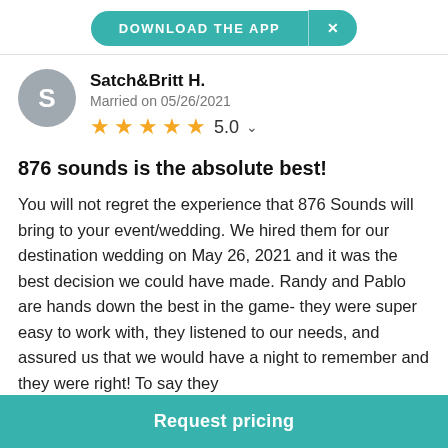DOWNLOAD THE APP  ×
Satch&Britt H.
Married on 05/26/2021
★★★★★ 5.0
876 sounds is the absolute best!
You will not regret the experience that 876 Sounds will bring to your event/wedding. We hired them for our destination wedding on May 26, 2021 and it was the best decision we could have made. Randy and Pablo are hands down the best in the game- they were super easy to work with, they listened to our needs, and assured us that we would have a night to remember and they were right! To say they
Request pricing